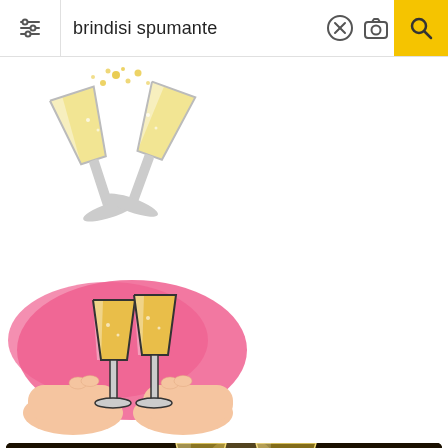[Figure (screenshot): Search bar with text 'brindisi spumante', filter icon on left, X and camera icons in middle, yellow search button on right]
[Figure (illustration): Clip-art style illustration of two champagne flute glasses clinking, with golden liquid and bubbles/sparkles on white background]
[Figure (illustration): Illustrated hands holding two wine glasses clinking, yellow liquid inside, on a pink painted brush stroke background]
[Figure (photo): Dark atmospheric photo of two champagne flutes clinking against a dark background with golden bokeh/glitter sparkles and light effects]